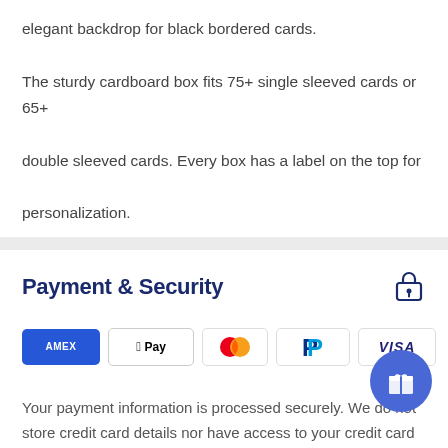elegant backdrop for black bordered cards.
The sturdy cardboard box fits 75+ single sleeved cards or 65+ double sleeved cards. Every box has a label on the top for personalization.
Payment & Security
[Figure (infographic): Payment method icons: American Express (AMEX blue badge), Apple Pay, Mastercard (overlapping red and orange circles), PayPal (blue P logo), Visa]
Your payment information is processed securely. We do not store credit card details nor have access to your credit card information.
Frequently Bought Together